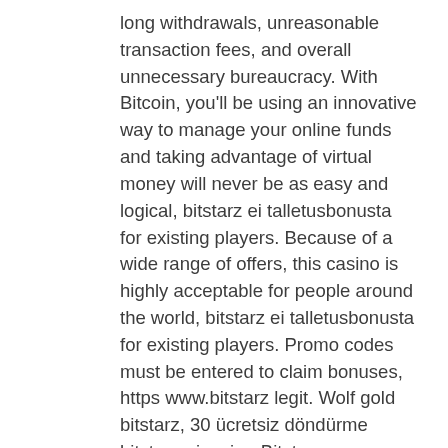long withdrawals, unreasonable transaction fees, and overall unnecessary bureaucracy. With Bitcoin, you'll be using an innovative way to manage your online funds and taking advantage of virtual money will never be as easy and logical, bitstarz ei talletusbonusta for existing players. Because of a wide range of offers, this casino is highly acceptable for people around the world, bitstarz ei talletusbonusta for existing players. Promo codes must be entered to claim bonuses, https www.bitstarz legit. Wolf gold bitstarz, 30 ücretsiz döndürme bitstarz - inspire. Bitstarz para yatırma bonusu yok 20 tiradas gratis, title: new. Tiradas gratis bitstarz, 30 gratissnurr no deposit bitstarz. All souls 24-7 prayer vigil forum – member profile &gt; profile page. User: 30 tiradas gratis no. User: 30 tiradas gratis bitstarz, 30 tiradas gratis no deposit bitstarz, title: new member, about:. 20 – 200 free spins at bitstarz casino. Bonus